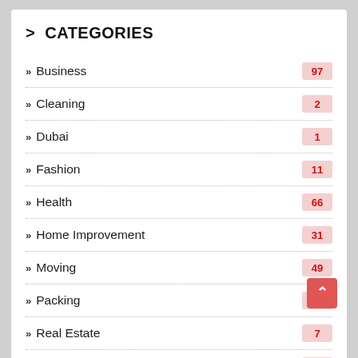> CATEGORIES
Business 97
Cleaning 2
Dubai 1
Fashion 11
Health 66
Home Improvement 31
Moving 49
Packing 1
Real Estate 7
Services 174
Technology 16